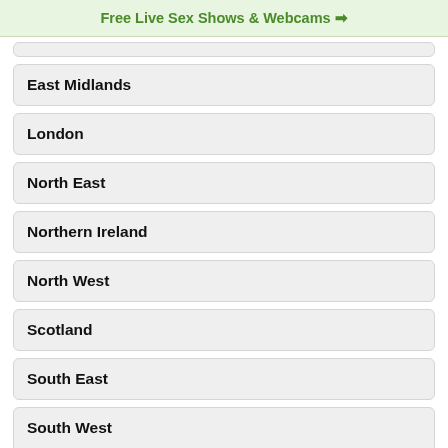Free Live Sex Shows & Webcams ➔
East Midlands
London
North East
Northern Ireland
North West
Scotland
South East
South West